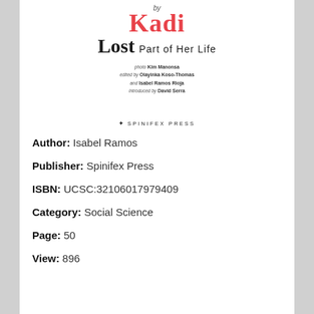[Figure (illustration): Book cover showing title 'Kadi Lost Part of Her Life' with author and publication credits, and Spinifex Press logo]
Author: Isabel Ramos
Publisher: Spinifex Press
ISBN: UCSC:32106017979409
Category: Social Science
Page: 50
View: 896